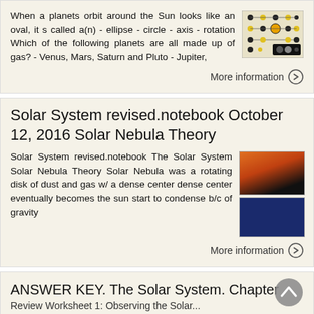When a planets orbit around the Sun looks like an oval, it s called a(n) - ellipse - circle - axis - rotation Which of the following planets are all made up of gas? - Venus, Mars, Saturn and Pluto - Jupiter,
[Figure (illustration): Small diagram showing orbital/planetary system with dots and lines on a light background]
More information →
Solar System revised.notebook October 12, 2016 Solar Nebula Theory
Solar System revised.notebook The Solar System Solar Nebula Theory Solar Nebula was a rotating disk of dust and gas w/ a dense center dense center eventually becomes the sun start to condense b/c of gravity
[Figure (photo): Two small images: top shows an orange/red nebula or planetary image, bottom shows a dark blue square]
More information →
ANSWER KEY. The Solar System. Chapter
Review Worksheet 1: Observing the Solar...